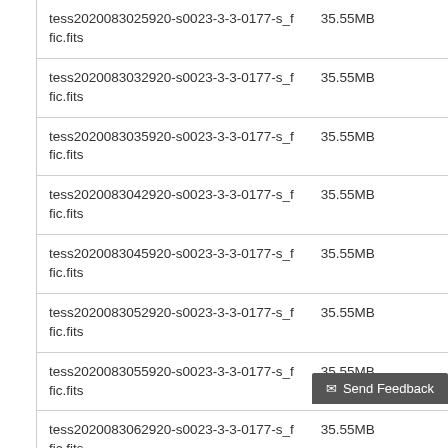| Filename | Size |
| --- | --- |
| tess2020083025920-s0023-3-3-0177-s_ffic.fits | 35.55MB |
| tess2020083032920-s0023-3-3-0177-s_ffic.fits | 35.55MB |
| tess2020083035920-s0023-3-3-0177-s_ffic.fits | 35.55MB |
| tess2020083042920-s0023-3-3-0177-s_ffic.fits | 35.55MB |
| tess2020083045920-s0023-3-3-0177-s_ffic.fits | 35.55MB |
| tess2020083052920-s0023-3-3-0177-s_ffic.fits | 35.55MB |
| tess2020083055920-s0023-3-3-0177-s_ffic.fits | 35.55MB |
| tess2020083062920-s0023-3-3-0177-s_ffic.fits | 35.55MB |
| tess2020083065920-s0023-3-3-... | 35.55MB |